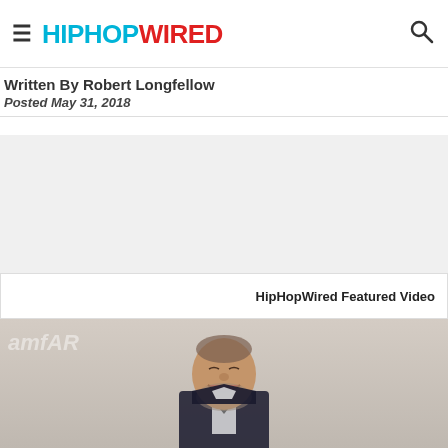HIPHOPWIRED
Written By Robert Longfellow
Posted May 31, 2018
[Figure (other): Advertisement / gray placeholder area]
HipHopWired Featured Video
[Figure (photo): Photo of a smiling bearded man at an amfAR event, wearing a dark suit, against a step-and-repeat backdrop]